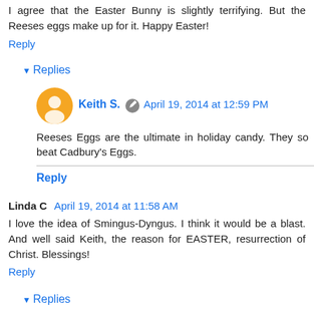I agree that the Easter Bunny is slightly terrifying. But the Reeses eggs make up for it. Happy Easter!
Reply
Replies
Keith S.  April 19, 2014 at 12:59 PM
Reeses Eggs are the ultimate in holiday candy. They so beat Cadbury's Eggs.
Reply
Linda C  April 19, 2014 at 11:58 AM
I love the idea of Smingus-Dyngus. I think it would be a blast. And well said Keith, the reason for EASTER, resurrection of Christ. Blessings!
Reply
Replies